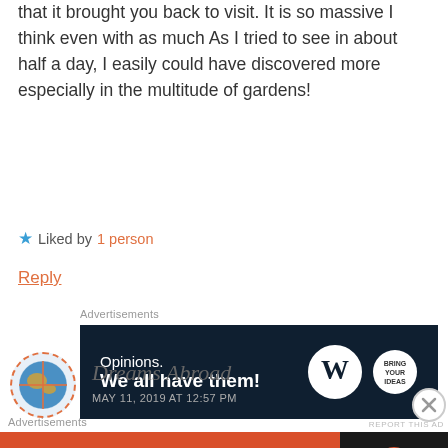that it brought you back to visit. It is so massive I think even with as much As I tried to see in about half a day, I easily could have discovered more especially in the multitude of gardens!
★ Liked by 1 person
Reply
Advertisements
[Figure (infographic): WordPress advertisement banner: dark navy background with text 'Opinions. We all have them!' and WordPress logo with circular badge on right.]
REPORT THIS AD
Dreams Abroad
MAY 11, 2019 AT 12:57 PM
Advertisements
[Figure (infographic): DuckDuckGo advertisement banner: orange left section 'Search, browse, and email with more privacy. All in One Free App' and dark right section with DuckDuckGo logo.]
REPORT THIS AD